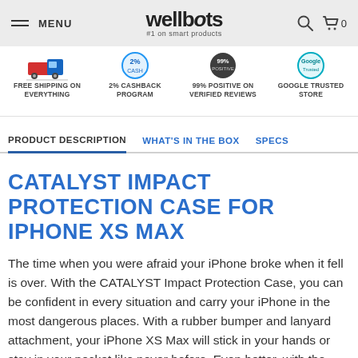MENU | wellbots #1 on smart products | 🔍 🛒 0
[Figure (infographic): Four trust badge icons: a delivery truck (FREE SHIPPING ON EVERYTHING), a coin (2% CASHBACK PROGRAM), a star/review badge (99% POSITIVE ON VERIFIED REVIEWS), a Google badge (GOOGLE TRUSTED STORE)]
PRODUCT DESCRIPTION | WHAT'S IN THE BOX | SPECS
CATALYST IMPACT PROTECTION CASE FOR IPHONE XS MAX
The time when you were afraid your iPhone broke when it fell is over. With the CATALYST Impact Protection Case, you can be confident in every situation and carry your iPhone in the most dangerous places. With a rubber bumper and lanyard attachment, your iPhone XS Max will stick in your hands or stay in your pocket like never before. Even better, with the newest Impact Truss System you can be confident and drop your iPhone to 9.9 ft (3m)*. But make no